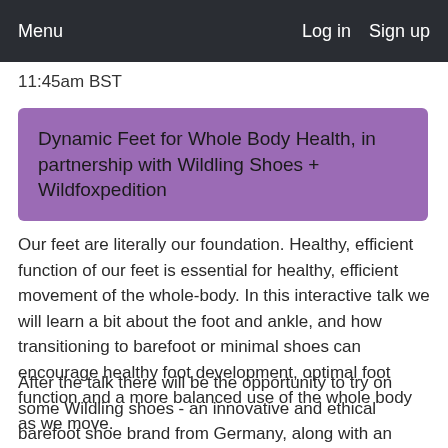Menu   Log in   Sign up
11:45am BST
Dynamic Feet for Whole Body Health, in partnership with Wildling Shoes + Wildfoxpedition
Our feet are literally our foundation. Healthy, efficient function of our feet is essential for healthy, efficient movement of the whole-body. In this interactive talk we will learn a bit about the foot and ankle, and how transitioning to barefoot or minimal shoes can encourage healthy foot development, optimal foot function and a more balanced use of the whole body as we move.
After the talk there will be the opportunity to try on some Wildling shoes - an innovative and ethical barefoot shoe brand from Germany, along with an open discussion/Q&A .